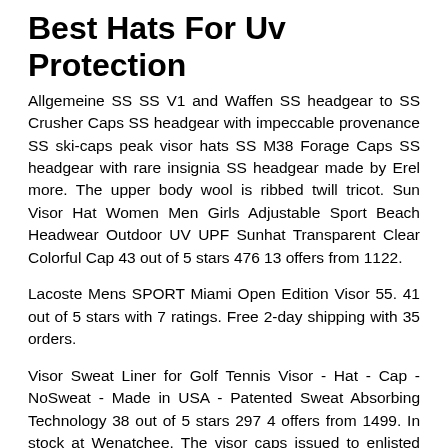Best Hats For Uv Protection
Allgemeine SS SS V1 and Waffen SS headgear to SS Crusher Caps SS headgear with impeccable provenance SS ski-caps peak visor hats SS M38 Forage Caps SS headgear with rare insignia SS headgear made by Erel more. The upper body wool is ribbed twill tricot. Sun Visor Hat Women Men Girls Adjustable Sport Beach Headwear Outdoor UV UPF Sunhat Transparent Clear Colorful Cap 43 out of 5 stars 476 13 offers from 1122.
Lacoste Mens SPORT Miami Open Edition Visor 55. 41 out of 5 stars with 7 ratings. Free 2-day shipping with 35 orders.
Visor Sweat Liner for Golf Tennis Visor - Hat - Cap - NoSweat - Made in USA - Patented Sweat Absorbing Technology 38 out of 5 stars 297 4 offers from 1499. In stock at Wenatchee. The visor caps issued to enlisted men had a black leather chinstrap while those issued to officers and authorized NCOs featured braided silver cords.